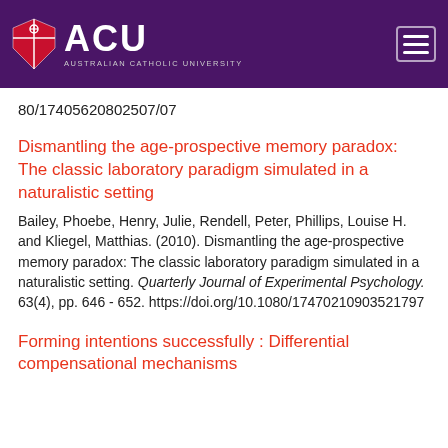ACU AUSTRALIAN CATHOLIC UNIVERSITY
80/17405620802507/07
Dismantling the age-prospective memory paradox: The classic laboratory paradigm simulated in a naturalistic setting
Bailey, Phoebe, Henry, Julie, Rendell, Peter, Phillips, Louise H. and Kliegel, Matthias. (2010). Dismantling the age-prospective memory paradox: The classic laboratory paradigm simulated in a naturalistic setting. Quarterly Journal of Experimental Psychology. 63(4), pp. 646 - 652. https://doi.org/10.1080/17470210903521797
Forming intentions successfully : Differential compensational mechanisms